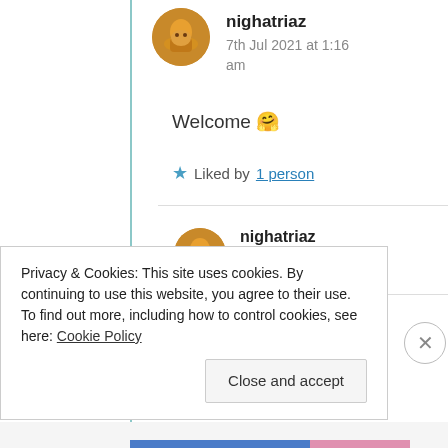nighatriaz
7th Jul 2021 at 1:16 am
Welcome 🤗
★ Liked by 1 person
nighatriaz
7th Jul 2021 at 1:16
Privacy & Cookies: This site uses cookies. By continuing to use this website, you agree to their use.
To find out more, including how to control cookies, see here: Cookie Policy
Close and accept